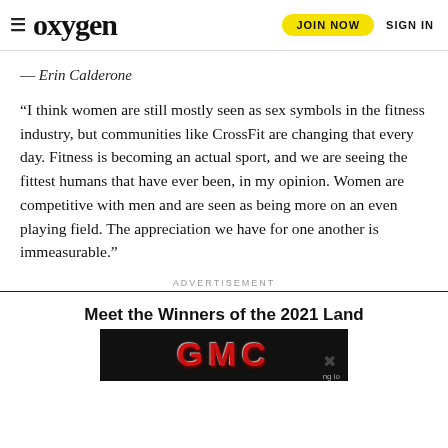≡ oxygen   JOIN NOW   SIGN IN
— Erin Calderone
“I think women are still mostly seen as sex symbols in the fitness industry, but communities like CrossFit are changing that every day. Fitness is becoming an actual sport, and we are seeing the fittest humans that have ever been, in my opinion. Women are competitive with men and are seen as being more on an even playing field. The appreciation we have for one another is immeasurable.”
ADVERTISEMENT
Meet the Winners of the 2021 Land
[Figure (logo): GMC logo in red metallic lettering on a black background banner advertisement]